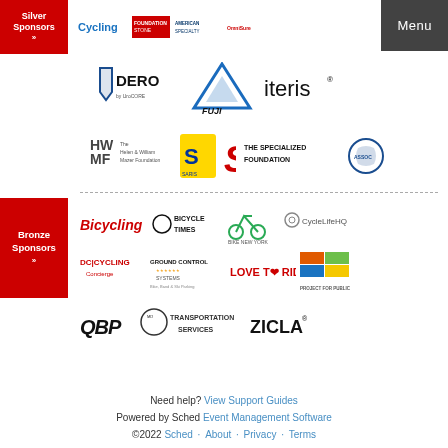[Figure (logo): Silver/Gold Sponsors red button with logos: Cycling, Foundation Stone, American Specialty, OmniSure]
Menu
[Figure (logo): DERO logo, Fuji bicycle logo, Iteris logo]
[Figure (logo): HWMF Helen & William Mazer Foundation, Saris, The Specialized Foundation, Transportation circular logo]
[Figure (logo): Bronze Sponsors button with: Bicycling, Bicycle Times, Bike New York, CycleLifeHQ, DC Cycling Concierge, Ground Control Systems, Love To Ride, Project for Public Spaces, QBP, Transportation Services, ZICLA]
Need help? View Support Guides
Powered by Sched Event Management Software
©2022 Sched · About · Privacy · Terms